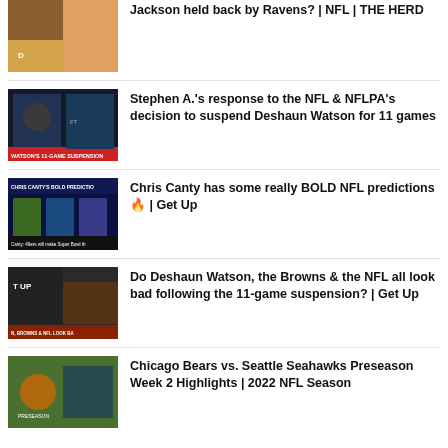[Figure (screenshot): Video thumbnail showing a TV pundit in an orange background, NFL content]
Jackson held back by Ravens? | NFL | THE HERD
[Figure (screenshot): Video thumbnail showing Stephen A. Smith on ESPN First Take, Watson's 11-game suspension banner]
Stephen A.'s response to the NFL & NFLPA's decision to suspend Deshaun Watson for 11 games
[Figure (screenshot): Video thumbnail showing Chris Canty's Bold Predictions graphic with NFL quarterbacks]
Chris Canty has some really BOLD NFL predictions 🔥 | Get Up
[Figure (screenshot): Video thumbnail showing Deshaun Watson on Get Up, Browns & NFL look bad lower third]
Do Deshaun Watson, the Browns & the NFL all look bad following the 11-game suspension? | Get Up
[Figure (screenshot): Video thumbnail showing football players on a field, Bears vs Seahawks game]
Chicago Bears vs. Seattle Seahawks Preseason Week 2 Highlights | 2022 NFL Season